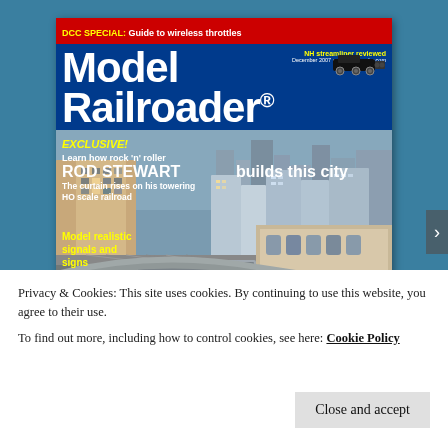[Figure (illustration): Cover of Model Railroader magazine, December 2007. Red banner at top reads 'DCC SPECIAL: Guide to wireless throttles' with a steam locomotive image. Blue masthead with large white text 'Model Railroader'. NH streamliner reviewed noted in yellow. Cover photo shows a detailed HO scale city railroad layout with skyscrapers and rail yards. Overlaid text: EXCLUSIVE! Learn how rock 'n' roller ROD STEWART builds this city. The curtain rises on his towering HO scale railroad. Model realistic signals and signs.]
Privacy & Cookies: This site uses cookies. By continuing to use this website, you agree to their use.
To find out more, including how to control cookies, see here: Cookie Policy
Close and accept